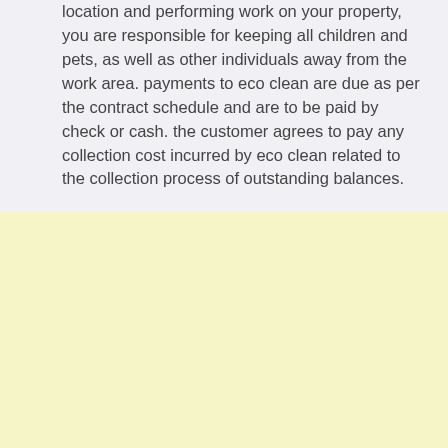location and performing work on your property, you are responsible for keeping all children and pets, as well as other individuals away from the work area. payments to eco clean are due as per the contract schedule and are to be paid by check or cash. the customer agrees to pay any collection cost incurred by eco clean related to the collection process of outstanding balances.